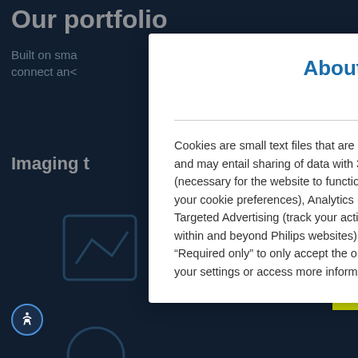[Figure (screenshot): Dark blue website background showing 'Our portfolio' heading and partial website content with icons]
About Cookies on This Site
Cookies are small text files that are downloaded onto your device when accessing this website and may entail sharing of data with 3rd parties. Philips' cookies are categorized as Required (necessary for the website to function properly, such as providing secure log-in or remember your cookie preferences), Analytics (collect statistical usage data for website optimization) and Targeted Advertising (track your activity to deliver marketing content tailored to your interests, within and beyond Philips websites). Click “Accept all” to agree to all categories. Click “Required only” to only accept the ones required for the website to function. Further customize your settings or access more information via “Customize Settings” and “Cookie Notice”.